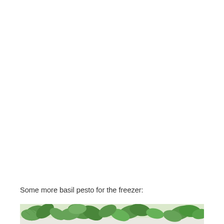[Figure (photo): White/blank space at the top of the page, likely where a photo would appear above]
Some more basil pesto for the freezer:
[Figure (photo): Partial photo at bottom showing fresh green basil leaves on a light surface]